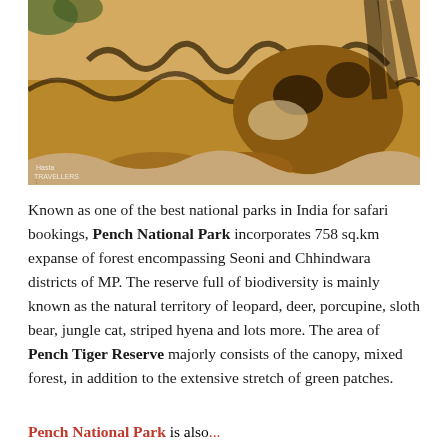[Figure (photo): Close-up photo of a tiger cub resting on the ground, face turned toward camera, with orange and black striped fur. A watermark reading 'Hasta Travellers' is visible in the lower left corner.]
Known as one of the best national parks in India for safari bookings, Pench National Park incorporates 758 sq.km expanse of forest encompassing Seoni and Chhindwara districts of MP. The reserve full of biodiversity is mainly known as the natural territory of leopard, deer, porcupine, sloth bear, jungle cat, striped hyena and lots more. The area of Pench Tiger Reserve majorly consists of the canopy, mixed forest, in addition to the extensive stretch of green patches.
Pench National Park is also...